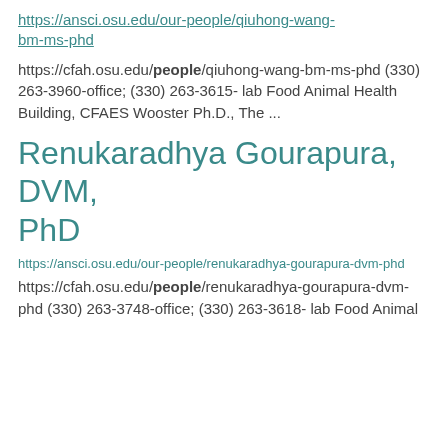https://ansci.osu.edu/our-people/qiuhong-wang-bm-ms-phd
https://cfah.osu.edu/people/qiuhong-wang-bm-ms-phd (330) 263-3960-office; (330) 263-3615- lab Food Animal Health Building, CFAES Wooster Ph.D., The ...
Renukaradhya Gourapura, DVM, PhD
https://ansci.osu.edu/our-people/renukaradhya-gourapura-dvm-phd
https://cfah.osu.edu/people/renukaradhya-gourapura-dvm-phd (330) 263-3748-office; (330) 263-3618- lab Food Animal